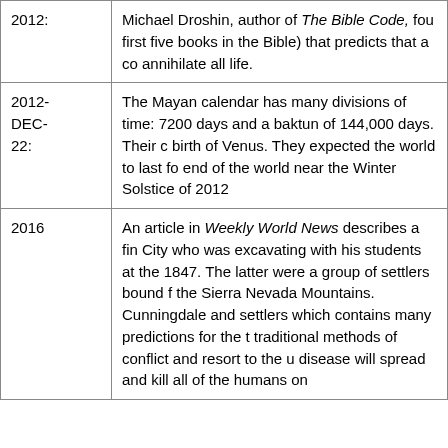| Date | Description |
| --- | --- |
| 2012: | Michael Droshin, author of The Bible Code, fou... first five books in the Bible) that predicts that a co... annihilate all life. |
| 2012-DEC-22: | The Mayan calendar has many divisions of time: 7200 days and a baktun of 144,000 days. Their c... birth of Venus. They expected the world to last fo... end of the world near the Winter Solstice of 2012... |
| 2016 | An article in Weekly World News describes a fin... City who was excavating with his students at the... 1847. The latter were a group of settlers bound f... the Sierra Nevada Mountains. Cunningdale and... settlers which contains many predictions for the t... traditional methods of conflict and resort to the u... disease will spread and kill all of the humans on... |